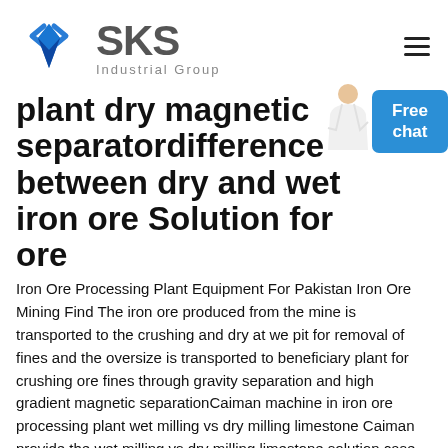[Figure (logo): SKS Industrial Group logo with angular S-shaped diamond icon and grey SKS text with Industrial Group subtitle]
plant dry magnetic separatordifference between dry and wet iron ore Solution for ore
Iron Ore Processing Plant Equipment For Pakistan Iron Ore Mining Find The iron ore produced from the mine is transported to the crushing and dry at we pit for removal of fines and the oversize is transported to beneficiary plant for crushing ore fines through gravity separation and high gradient magnetic separationCaiman machine in iron ore processing plant wet milling vs dry milling limestone Caiman provide the wet milling vs dry milling limestone solution case for you Caiman provide